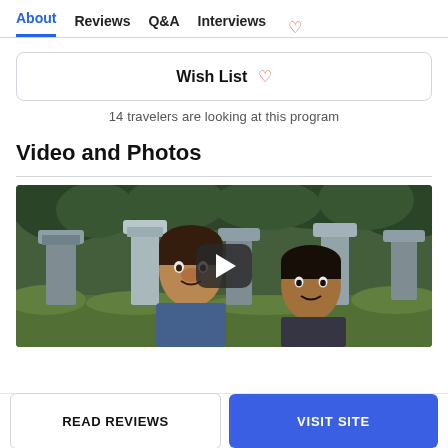About  Reviews  Q&A  Interviews
Wish List ♡
14 travelers are looking at this program
Video and Photos
[Figure (photo): Video thumbnail showing two young men smiling in front of stone monument pillars in a forested area, with a play button overlay]
READ REVIEWS
VISIT SITE